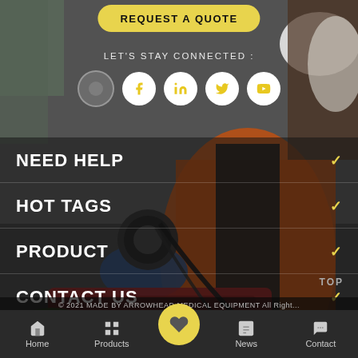[Figure (photo): Background photo of a medical/emergency worker wearing a face mask, orange vest, black jacket, holding a stethoscope and medical bag with latex gloves]
REQUEST A QUOTE
LET'S STAY CONNECTED :
[Figure (infographic): Social media icons: Facebook, LinkedIn, Twitter, YouTube in circular white/yellow buttons]
NEED HELP
HOT TAGS
PRODUCT
CONTACT US
TOP
Home  Products  News  Contact